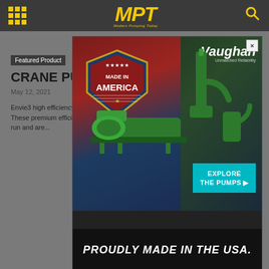MPT — Modern Pumping Today
Featured Product
CRANE PUM...
May 12, 2021
Envie3 high efficiency... These premium efficie... run and are...
[Figure (photo): Vaughan pumps advertisement: Made in America badge on US flag background with green industrial pumps. Text reads 'Vaughan Unmatched Reliability', 'EXPLORE THE PUMPS ▶', 'PROUDLY MADE IN THE USA.']